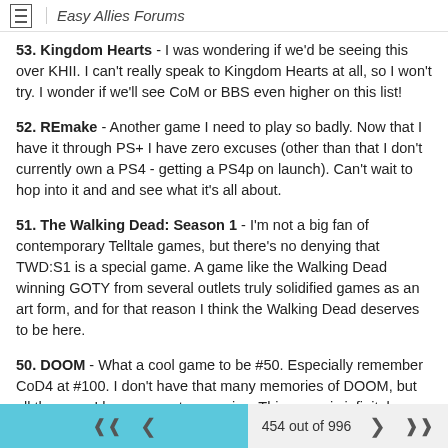Easy Allies Forums
53. Kingdom Hearts - I was wondering if we'd be seeing this over KHII. I can't really speak to Kingdom Hearts at all, so I won't try. I wonder if we'll see CoM or BBS even higher on this list!
52. REmake - Another game I need to play so badly. Now that I have it through PS+ I have zero excuses (other than that I don't currently own a PS4 - getting a PS4p on launch). Can't wait to hop into it and and see what it's all about.
51. The Walking Dead: Season 1 - I'm not a big fan of contemporary Telltale games, but there's no denying that TWD:S1 is a special game. A game like the Walking Dead winning GOTY from several outlets truly solidified games as an art form, and for that reason I think the Walking Dead deserves to be here.
50. DOOM - What a cool game to be #50. Especially remember CoD4 at #100. I don't have that many memories of DOOM, but all the ones I have a great memories. This game is infinitely important and I can't imagine this list without it!
454 out of 996